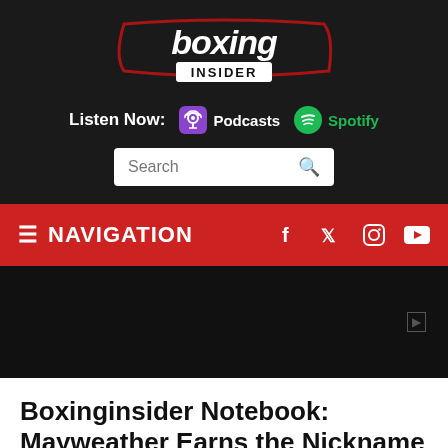[Figure (logo): Boxing Insider logo — white graffiti-style text reading 'boxing' with 'INSIDER' below, red and black outline/border]
Listen Now:  Podcasts  Spotify
Search
≡ NAVIGATION
[Figure (photo): Dark/black image area with a small icon on the right side]
Boxinginsider Notebook: Mayweather Earns the Nickname